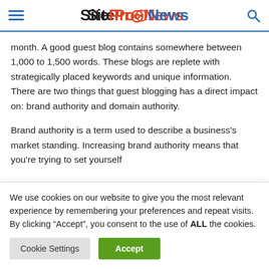SiteProNews
month. A good guest blog contains somewhere between 1,000 to 1,500 words. These blogs are replete with strategically placed keywords and unique information. There are two things that guest blogging has a direct impact on: brand authority and domain authority.
Brand authority is a term used to describe a business's market standing. Increasing brand authority means that you're trying to set yourself
We use cookies on our website to give you the most relevant experience by remembering your preferences and repeat visits. By clicking “Accept”, you consent to the use of ALL the cookies.